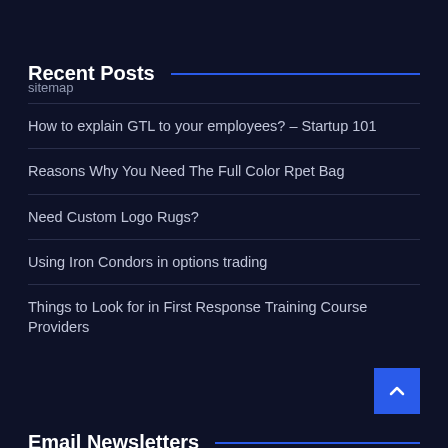sitemap
Recent Posts
How to explain GTL to your employees? – Startup 101
Reasons Why You Need The Full Color Rpet Bag
Need Custom Logo Rugs?
Using Iron Condors in options trading
Things to Look for in First Response Training Course Providers
Email Newsletters
Subscribe our email list